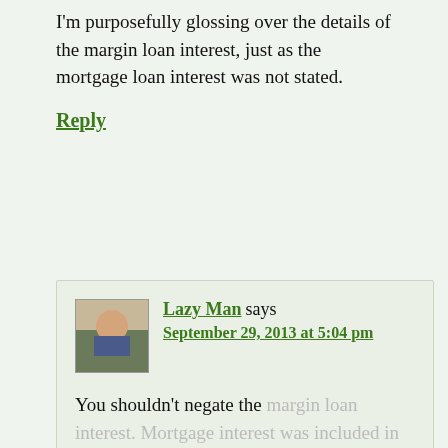I'm purposefully glossing over the details of the margin loan interest, just as the mortgage loan interest was not stated.
Reply
Lazy Man says September 29, 2013 at 5:04 pm
You shouldn't negate the margin loan interest. Mortgage interest was included in the